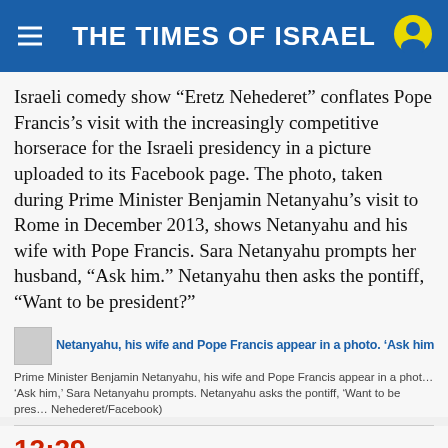THE TIMES OF ISRAEL
Israeli comedy show “Eretz Nehederet” conflates Pope Francis’s visit with the increasingly competitive horserace for the Israeli presidency in a picture uploaded to its Facebook page. The photo, taken during Prime Minister Benjamin Netanyahu’s visit to Rome in December 2013, shows Netanyahu and his wife with Pope Francis. Sara Netanyahu prompts her husband, “Ask him.” Netanyahu then asks the pontiff, “Want to be president?”
[Figure (photo): Thumbnail image placeholder with overlaid blue text repeating the article headline: 'Netanyahu, his wife and Pope Francis appear in a photo. Ask him, Sara Netanyahu prompts. Netanyahu asks the pontiff, Want to be president?']
Prime Minister Benjamin Netanyahu, his wife and Pope Francis appear in a photo. ‘Ask him,’ Sara Netanyahu prompts. Netanyahu asks the pontiff, ‘Want to be pres… Nehederet/Facebook)
12:29